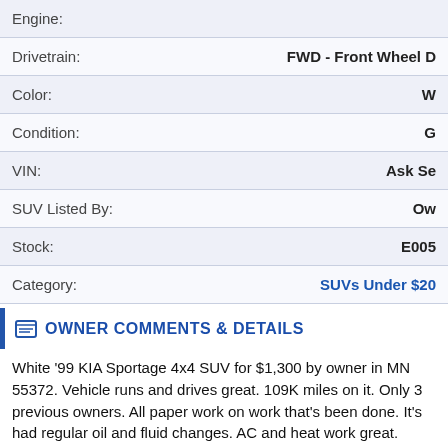| Field | Value |
| --- | --- |
| Engine: |  |
| Drivetrain: | FWD - Front Wheel D |
| Color: | W |
| Condition: | G |
| VIN: | Ask Se |
| SUV Listed By: | Ow |
| Stock: | E005 |
| Category: | SUVs Under $20 |
OWNER COMMENTS & DETAILS
White '99 KIA Sportage 4x4 SUV for $1,300 by owner in MN 55372. Vehicle runs and drives great. 109K miles on it. Only 3 previous owners. All paper work on work that's been done. It's had regular oil and fluid changes. AC and heat work great. Standard CD player. Gets 14/17 miles per gallon. Only little issues are the small dent in the front driver side. The driver review mirror is not the original mirror and the gas gage, once it gets to half the needle, doesn't go down any farth...